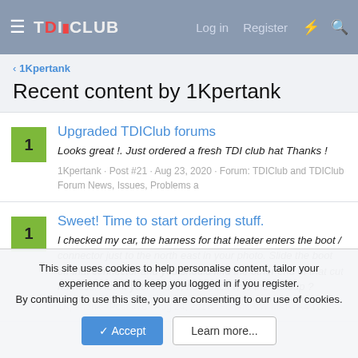TDIClub | Log in | Register
1Kpertank
Recent content by 1Kpertank
Upgraded TDIClub forums
Looks great !. Just ordered a fresh TDI club hat Thanks !
1Kpertank · Post #21 · Aug 23, 2020 · Forum: TDIClub and TDIClub Forum News, Issues, Problems a
Sweet! Time to start ordering stuff.
I checked my car, the harness for that heater enters the boot / connector just to the north east in your photo. Slide the boot off that connector and you should find the other end of that cut harness. About your intake, how thick was the buildup ?
1Kpertank · Post #78 · Aug 24, 2017 · Forum: VW MKIV-A4 TDIs
This site uses cookies to help personalise content, tailor your experience and to keep you logged in if you register.
By continuing to use this site, you are consenting to our use of cookies.